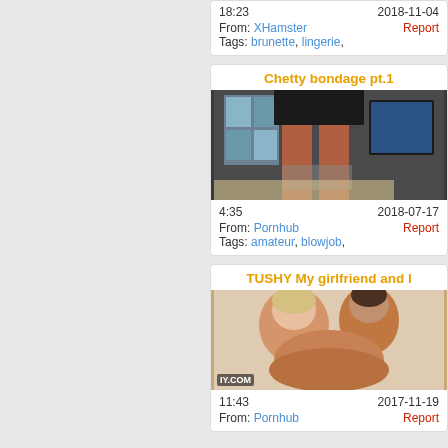18:23   2018-11-04
From: XHamster   Report
Tags: brunette, lingerie,
Chetty bondage pt.1
[Figure (photo): Video thumbnail showing person in dark skirt in a room]
4:35   2018-07-17
From: Pornhub   Report
Tags: amateur, blowjob,
TUSHY My girlfriend and I
[Figure (photo): Video thumbnail showing adult content with IY.COM watermark]
11:43   2017-11-19
From: Pornhub   Report